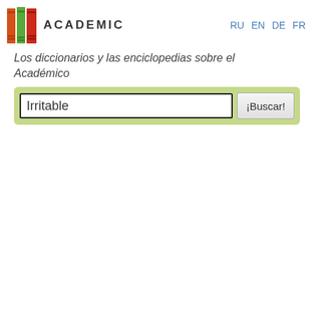[Figure (logo): Three colored book spines (orange, green, red) forming a books logo, with the word ACADEMIC in bold spaced letters beside it. Language links RU EN DE FR appear top right.]
Los diccionarios y las enciclopedias sobre el Académico
Irritable [search input field with ¡Buscar! button]